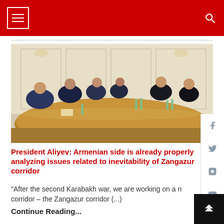News website header with hamburger menu and search icon
[Figure (photo): A formal diplomatic meeting scene: several officials in dark suits seated on both sides of a long wooden conference table in an ornate room. Water bottles and papers are on the table. Background shows cream/beige panelled walls with chandeliers and wall sconces.]
President Aliyev: Armenian side is already properly analyzing issues related to inevitability of Zangazur corridor
“After the second Karabakh war, we are working on a new corridor – the Zangazur corridor (...)
Continue Reading...